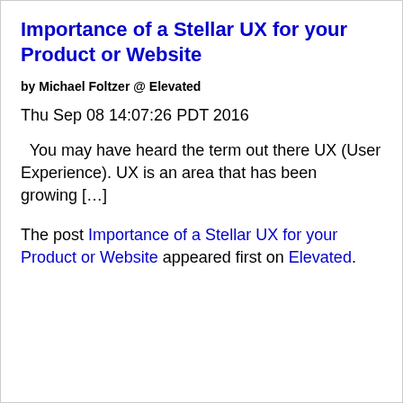Importance of a Stellar UX for your Product or Website
by Michael Foltzer @ Elevated
Thu Sep 08 14:07:26 PDT 2016
You may have heard the term out there UX (User Experience). UX is an area that has been growing […]
The post Importance of a Stellar UX for your Product or Website appeared first on Elevated.